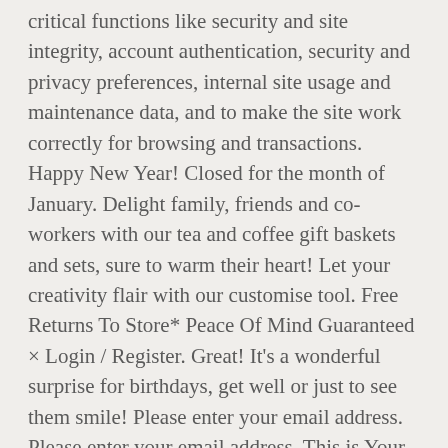critical functions like security and site integrity, account authentication, security and privacy preferences, internal site usage and maintenance data, and to make the site work correctly for browsing and transactions. Happy New Year! Closed for the month of January. Delight family, friends and co-workers with our tea and coffee gift baskets and sets, sure to warm their heart! Let your creativity flair with our customise tool. Free Returns To Store* Peace Of Mind Guaranteed × Login / Register. Great! It's a wonderful surprise for birthdays, get well or just to see them smile! Please enter your email address. Please enter your email address. This is Your Cup of Tea! Basket ; Contact us 01590 622 296 £ 0.00 0 Gift